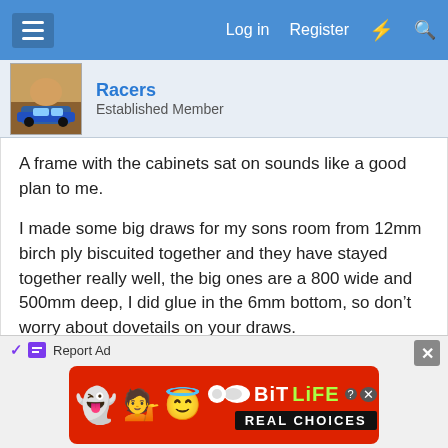Log in  Register
Racers
Established Member
A frame with the cabinets sat on sounds like a good plan to me.

I made some big draws for my sons room from 12mm birch ply biscuited together and they have stayed together really well, the big ones are a 800 wide and 500mm deep, I did glue in the 6mm bottom, so don't worry about dovetails on your draws.
I sold my jig it was hard to setup and the size was limited you to multiples of the width of one dovetail.

Pete
[Figure (screenshot): Advertisement banner for BitLife game showing emoji characters and 'REAL CHOICES' text on red background]
Report Ad